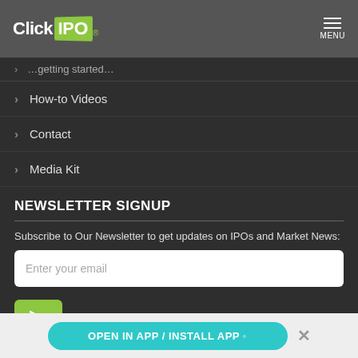[Figure (logo): ClickIPO logo with white text Click and green box IPO on dark gray header bar, with hamburger menu and MENU label on the right]
How-to Videos
Contact
Media Kit
NEWSLETTER SIGNUP
Subscribe to Our Newsletter to get updates on IPOs and Market News:
[Figure (other): Email input field with placeholder text 'Enter your email' on white background]
[Figure (other): Green submit button with paper airplane/send icon]
OPEN IN APP / INSTALL APP